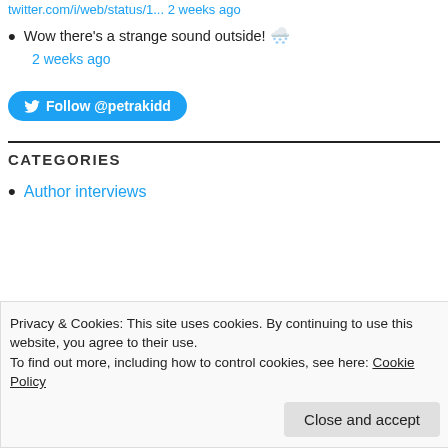twitter.com/i/web/status/1... 2 weeks ago
Wow there's a strange sound outside! 🌨️
2 weeks ago
Follow @petrakidd
CATEGORIES
Author interviews
Privacy & Cookies: This site uses cookies. By continuing to use this website, you agree to their use.
To find out more, including how to control cookies, see here: Cookie Policy
Close and accept